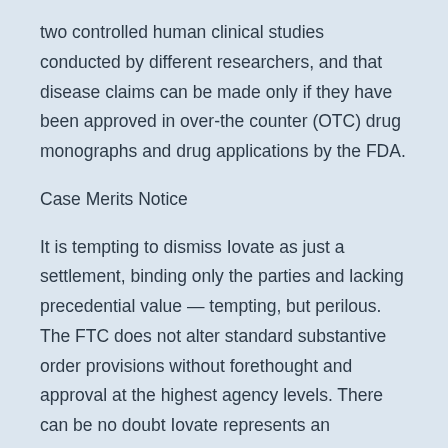two controlled human clinical studies conducted by different researchers, and that disease claims can be made only if they have been approved in over-the counter (OTC) drug monographs and drug applications by the FDA.
Case Merits Notice
It is tempting to dismiss Iovate as just a settlement, binding only the parties and lacking precedential value — tempting, but perilous. The FTC does not alter standard substantive order provisions without forethought and approval at the highest agency levels. There can be no doubt Iovate represents an